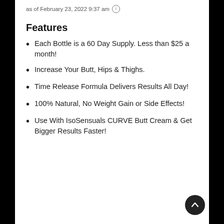as of February 23, 2022 9:37 am ⓘ
Features
Each Bottle is a 60 Day Supply. Less than $25 a month!
Increase Your Butt, Hips & Thighs.
Time Release Formula Delivers Results All Day!
100% Natural, No Weight Gain or Side Effects!
Use With IsoSensuals CURVE Butt Cream & Get Bigger Results Faster!